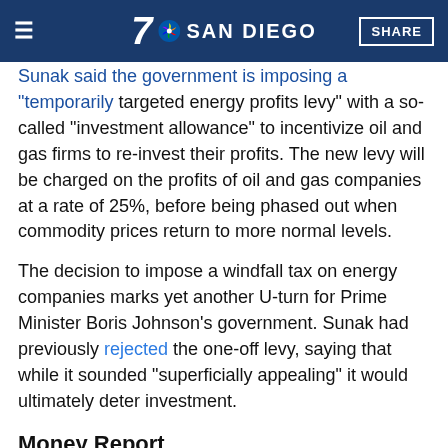7 NBC SAN DIEGO | SHARE
Sunak said the government is imposing a "temporarily targeted energy profits levy" with a so-called "investment allowance" to incentivize oil and gas firms to re-invest their profits. The new levy will be charged on the profits of oil and gas companies at a rate of 25%, before being phased out when commodity prices return to more normal levels.
The decision to impose a windfall tax on energy companies marks yet another U-turn for Prime Minister Boris Johnson's government. Sunak had previously rejected the one-off levy, saying that while it sounded "superficially appealing" it would ultimately deter investment.
Money Report
17 MINS AGO
Small Businesses Are Still Desperate for